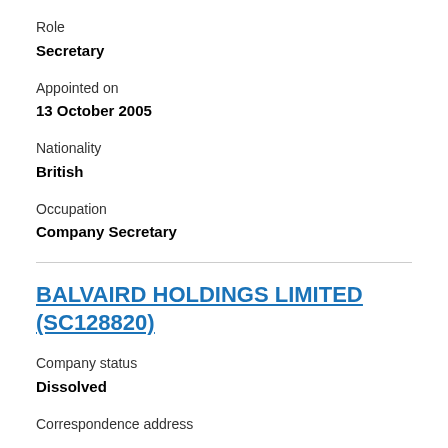Role
Secretary
Appointed on
13 October 2005
Nationality
British
Occupation
Company Secretary
BALVAIRD HOLDINGS LIMITED (SC128820)
Company status
Dissolved
Correspondence address